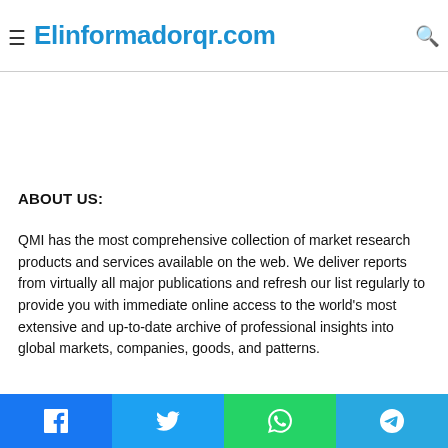≡ Elinformadorqr.com 🔍
with relation developments. The report has an exhaustive stakeholder in the Next-Gen ATM market.
ABOUT US:
QMI has the most comprehensive collection of market research products and services available on the web. We deliver reports from virtually all major publications and refresh our list regularly to provide you with immediate online access to the world's most extensive and up-to-date archive of professional insights into global markets, companies, goods, and patterns.
Facebook | Twitter | WhatsApp | Telegram